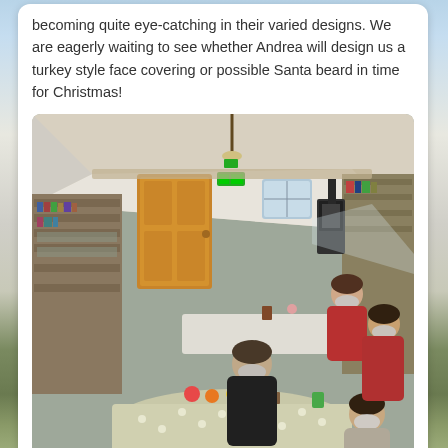becoming quite eye-catching in their varied designs. We are eagerly waiting to see whether Andrea will design us a turkey style face covering or possible Santa beard in time for Christmas!
[Figure (photo): Indoor community hall or workshop room with several people seated at tables covered with polka-dot and plain cloths, working on crafts. People are wearing face masks. Room has shelving with books and supplies, a wooden door, a stove/heater, and overhead lighting. High-angle view.]